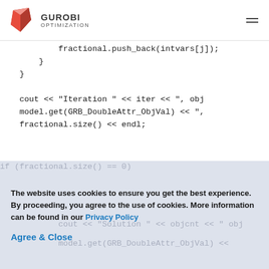GUROBI OPTIMIZATION
fractional.push_back(intvars[j]);
    }
  }

  cout << "Iteration " << iter << ", obj
  model.get(GRB_DoubleAttr_ObjVal) << ",
  fractional.size() << endl;
The website uses cookies to ensure you get the best experience. By proceeding, you agree to the use of cookies. More information can be found in our Privacy Policy
Agree & Close